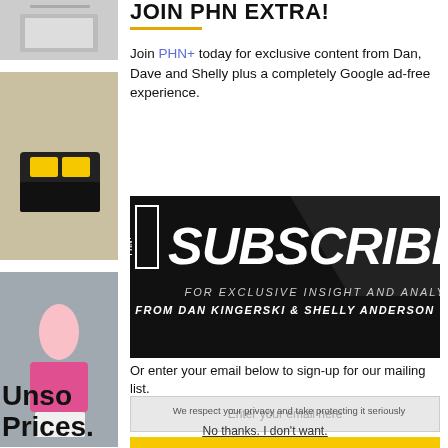[Figure (photo): Small thumbnail image at top left, partially visible]
[Figure (photo): Medium thumbnail image on left, showing shoes/boots with yellow accents]
[Figure (photo): Larger thumbnail image on left showing people at an event; partially obscured text 'Unso Prices.']
JOIN PHN EXTRA!
Join PHN+ today for exclusive content from Dan, Dave and Shelly plus a completely Google ad-free experience.
[Figure (infographic): Subscribe Now banner with PHN+ logo. Black background, bold italic white text: SUBSCRIBE NOW FOR EXCLUSIVE INSIGHT AND ANALYSIS FROM DAN KINGERSKI & SHELLY ANDERSON]
Or enter your email below to sign-up for our mailing list.
Enter your email here
SIGN UP NOW
We respect your privacy and take protecting it seriously
No thanks. I don't want.